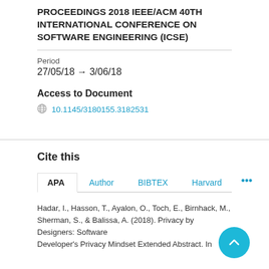PROCEEDINGS 2018 IEEE/ACM 40TH INTERNATIONAL CONFERENCE ON SOFTWARE ENGINEERING (ICSE)
Period
27/05/18 → 3/06/18
Access to Document
10.1145/3180155.3182531
Cite this
APA | Author | BIBTEX | Harvard | ...
Hadar, I., Hasson, T., Ayalon, O., Toch, E., Birnhack, M., Sherman, S., & Balissa, A. (2018). Privacy by Designers: Software Developer's Privacy Mindset Extended Abstract. In